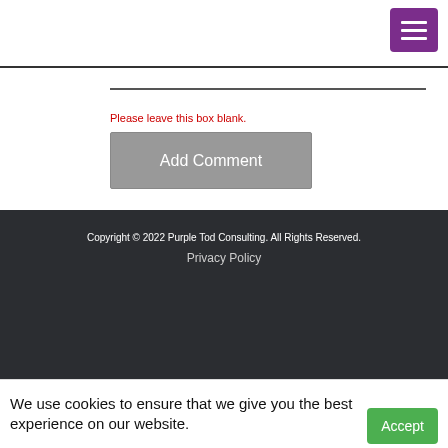[Figure (other): Purple hamburger menu button with three white horizontal bars]
Please leave this box blank.
Add Comment
Copyright © 2022 Purple Tod Consulting. All Rights Reserved.
Privacy Policy
We use cookies to ensure that we give you the best experience on our website.
Accept